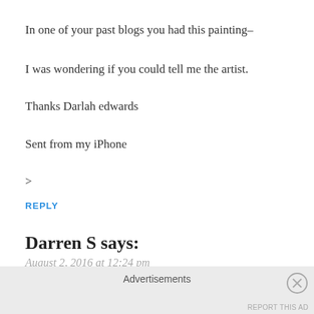In one of your past blogs you had this painting–
I was wondering if you could tell me the artist.
Thanks Darlah edwards
Sent from my iPhone
>
REPLY
Darren S says:
August 2, 2016 at 12:24 pm
Kayla:
Advertisements